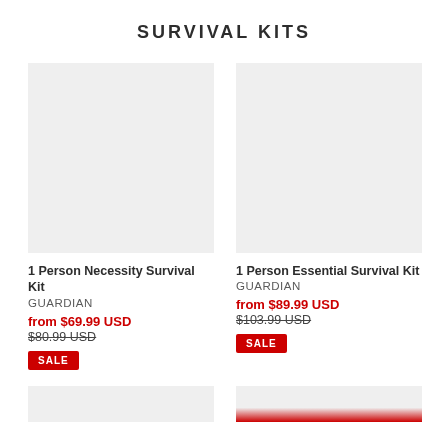SURVIVAL KITS
[Figure (photo): Product image placeholder for 1 Person Necessity Survival Kit (light gray rectangle)]
1 Person Necessity Survival Kit
GUARDIAN
from $69.99 USD
$80.99 USD
SALE
[Figure (photo): Product image placeholder for 1 Person Essential Survival Kit (light gray rectangle)]
1 Person Essential Survival Kit
GUARDIAN
from $89.99 USD
$103.99 USD
SALE
[Figure (photo): Partial product image placeholder at bottom left (light gray rectangle)]
[Figure (photo): Partial product image placeholder at bottom right (light gray rectangle with red area visible)]